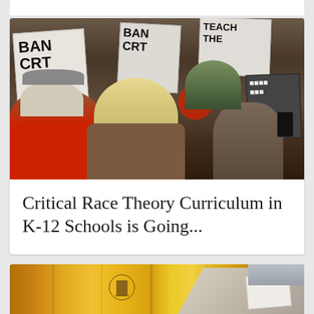[Figure (photo): Protest photo showing crowd holding signs reading 'BAN CRT' and 'TEACH THE TRUTH', with a woman with blonde hair in the center foreground]
Critical Race Theory Curriculum in K-12 Schools is Going...
[Figure (photo): Photo showing hands exchanging a document over a New Jersey state flag with golden/yellow background]